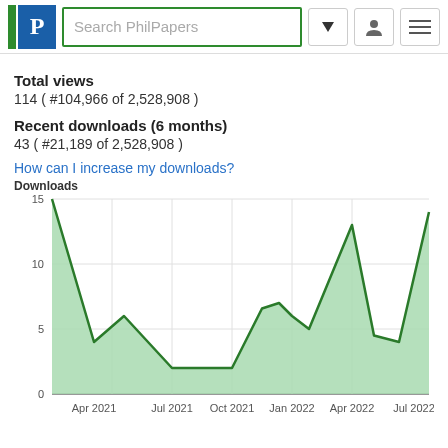Search PhilPapers
Total views
114 ( #104,966 of 2,528,908 )
Recent downloads (6 months)
43 ( #21,189 of 2,528,908 )
How can I increase my downloads?
[Figure (area-chart): Downloads]